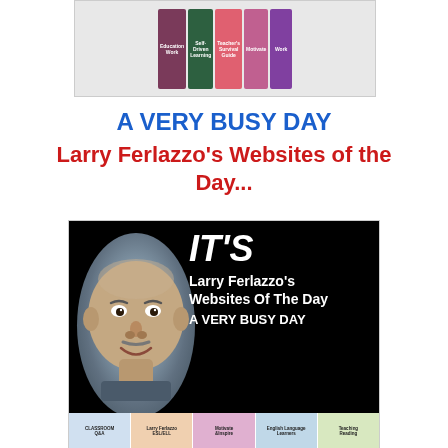[Figure (photo): Banner strip of book covers related to education and teaching]
A VERY BUSY DAY
Larry Ferlazzo's Websites of the Day...
[Figure (photo): Promotional banner image for Larry Ferlazzo's Websites of the Day - A Very Busy Day, showing Larry Ferlazzo's headshot on black background with bold white text]